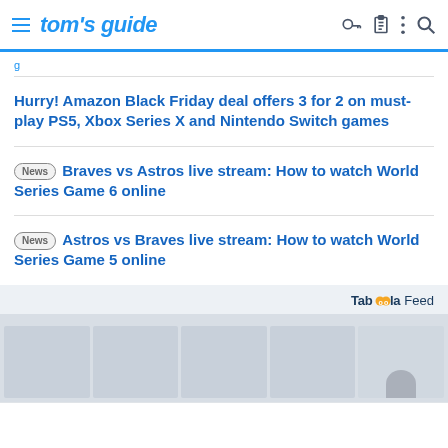tom's guide
g
Hurry! Amazon Black Friday deal offers 3 for 2 on must-play PS5, Xbox Series X and Nintendo Switch games
[News] Braves vs Astros live stream: How to watch World Series Game 6 online
[News] Astros vs Braves live stream: How to watch World Series Game 5 online
[Figure (screenshot): Taboola Feed section with image thumbnails partially visible at the bottom of the page]
Taboola Feed